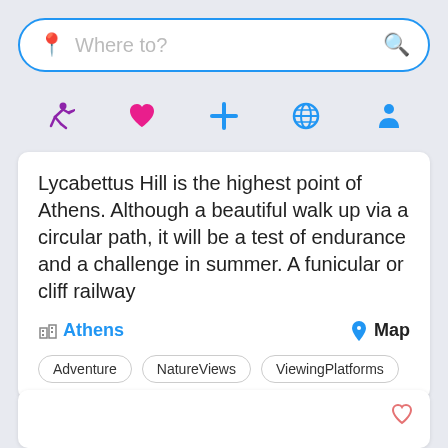[Figure (screenshot): Search bar with 'Where to?' placeholder, blue border, location pin icon on left, magenta search icon on right]
[Figure (infographic): Navigation icon row: purple running figure, pink heart, blue plus, blue globe, blue person silhouette]
Lycabettus Hill is the highest point of Athens. Although a beautiful walk up via a circular path, it will be a test of endurance and a challenge in summer. A funicular or cliff railway
Athens   Map
Adventure
NatureViews
ViewingPlatforms